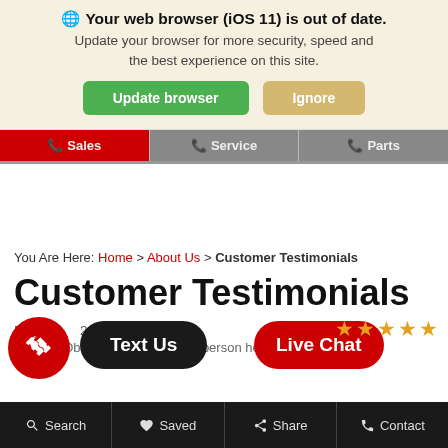🌐 Your web browser (iOS 11) is out of date. Update your browser for more security, speed and the best experience on this site.
Update browser | Ignore
📞 Sales | 📞 Service | 📞 Parts
You Are Here: Home > About Us > Customer Testimonials
Customer Testimonials
December 21, 2... ★★★★★
Johnnie Obannon was my sales person he made my
Text Us | Live Chat
Search | Saved | Share | Contact